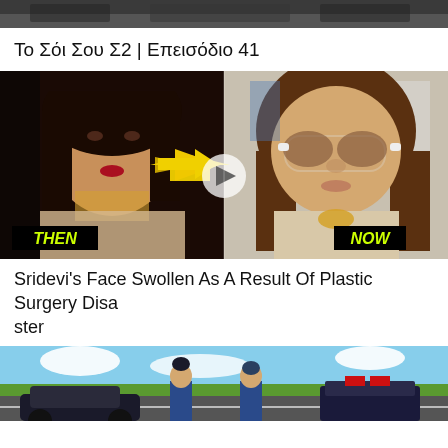[Figure (photo): Top partial image strip showing people]
Το Σόι Σου Σ2 | Επεισόδιο 41
[Figure (photo): Before and after comparison image of Sridevi with THEN and NOW labels and yellow arrow]
Sridevi's Face Swollen As A Result Of Plastic Surgery Disaster
[Figure (photo): Bottom partial image showing two men near a police car on a highway]